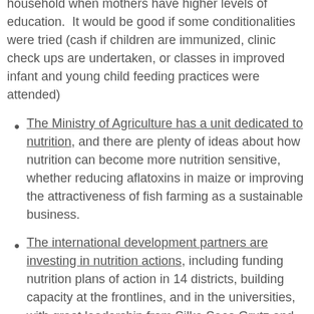household when mothers have higher levels of education.  It would be good if some conditionalities were tried (cash if children are immunized, clinic check ups are undertaken, or classes in improved infant and young child feeding practices were attended)
The Ministry of Agriculture has a unit dedicated to nutrition, and there are plenty of ideas about how nutrition can become more nutrition sensitive, whether reducing aflatoxins in maize or improving the attractiveness of fish farming as a sustainable business.
The international development partners are investing in nutrition actions, including funding nutrition plans of action in 14 districts, building capacity at the frontlines, and in the universities, with great leadership from Silke Seco Grutz and others.
Civil society is more and more mobilized, strategic and organized. The CSO SUN Alliance